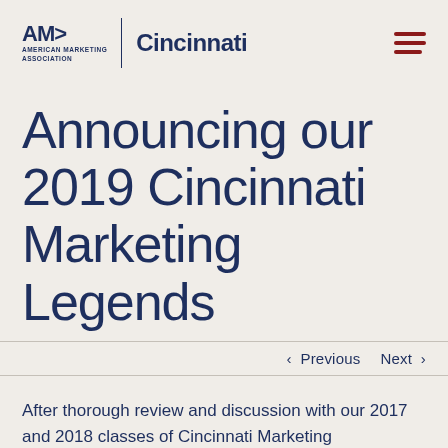AMA American Marketing Association | Cincinnati
Announcing our 2019 Cincinnati Marketing Legends
‹ Previous   Next ›
After thorough review and discussion with our 2017 and 2018 classes of Cincinnati Marketing